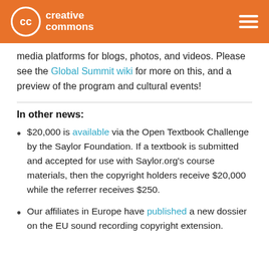[Figure (logo): Creative Commons logo with orange header bar and hamburger menu icon]
media platforms for blogs, photos, and videos. Please see the Global Summit wiki for more on this, and a preview of the program and cultural events!
In other news:
$20,000 is available via the Open Textbook Challenge by the Saylor Foundation. If a textbook is submitted and accepted for use with Saylor.org's course materials, then the copyright holders receive $20,000 while the referrer receives $250.
Our affiliates in Europe have published a new dossier on the EU sound recording copyright extension.